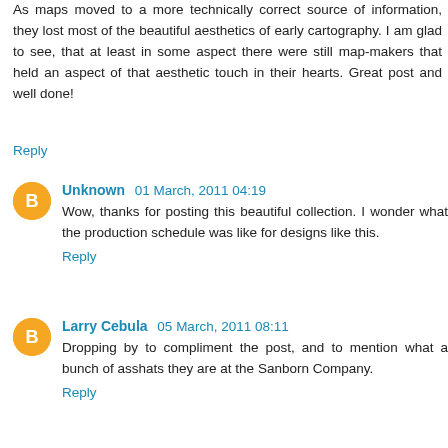As maps moved to a more technically correct source of information, they lost most of the beautiful aesthetics of early cartography. I am glad to see, that at least in some aspect there were still map-makers that held an aspect of that aesthetic touch in their hearts. Great post and well done!
Reply
Unknown  01 March, 2011 04:19
Wow, thanks for posting this beautiful collection. I wonder what the production schedule was like for designs like this.
Reply
Larry Cebula  05 March, 2011 08:11
Dropping by to compliment the post, and to mention what a bunch of asshats they are at the Sanborn Company.
Reply